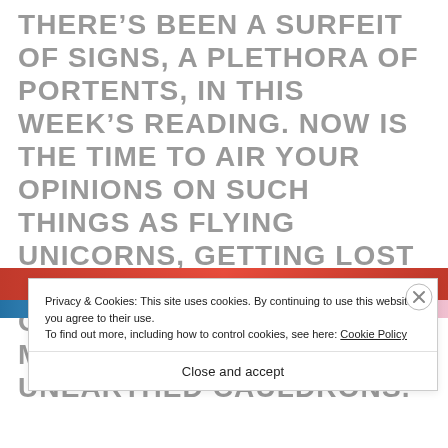THERE'S BEEN A SURFEIT OF SIGNS, A PLETHORA OF PORTENTS, IN THIS WEEK'S READING. NOW IS THE TIME TO AIR YOUR OPINIONS ON SUCH THINGS AS FLYING UNICORNS, GETTING LOST IN THE WOODS, THE CAVE OF THE SLEEPERS, MAGICAL HORNS AND UNEARTHED CAULDRONS.
[Figure (photo): Partial view of an image with a red strip at top and a blue/pink gradient strip at bottom, mostly obscured by cookie consent overlay]
Privacy & Cookies: This site uses cookies. By continuing to use this website, you agree to their use.
To find out more, including how to control cookies, see here: Cookie Policy
Close and accept